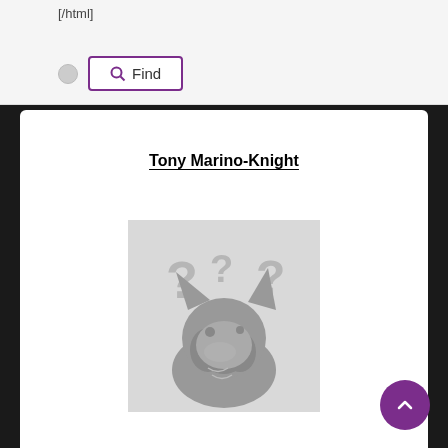[/html]
[Figure (other): Search UI element with radio button and Find button with magnifier icon, purple border]
Tony Marino-Knight
[Figure (illustration): Placeholder avatar image of a furry/animal character (wolf or fox) silhouette in gray with multiple question marks floating above its head, on a light gray background]